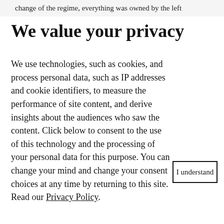change of the regime, everything was owned by the left
We value your privacy
We use technologies, such as cookies, and process personal data, such as IP addresses and cookie identifiers, to measure the performance of site content, and derive insights about the audiences who saw the content. Click below to consent to the use of this technology and the processing of your personal data for this purpose. You can change your mind and change your consent choices at any time by returning to this site. Read our Privacy Policy.
I understand